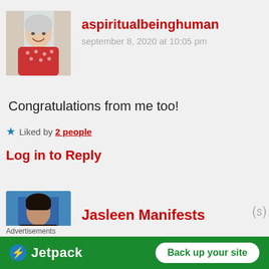[Figure (photo): Avatar photo of a smiling woman in red patterned top]
aspiritualbeinghuman
september 8, 2020 at 10:05 pm
Congratulations from me too!
Liked by 2 people
Log in to Reply
[Figure (photo): Avatar photo of a dark-haired woman with blue background]
Jasleen Manifests
Advertisements
[Figure (infographic): Jetpack advertisement banner: Back up your site]